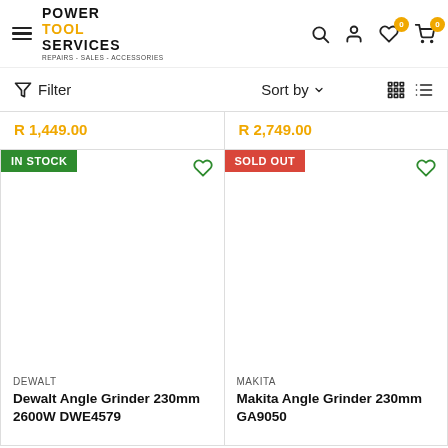Power Tool Services — REPAIRS - SALES - ACCESSORIES — Navigation header with hamburger menu, search, account, wishlist (0), cart (0)
Filter   Sort by   [grid view icons]
R 1,449.00   R 2,749.00
IN STOCK
SOLD OUT
DEWALT
Dewalt Angle Grinder 230mm 2600W DWE4579
MAKITA
Makita Angle Grinder 230mm GA9050